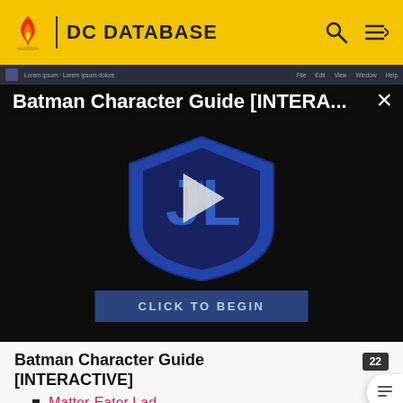DC DATABASE
[Figure (screenshot): Batman Character Guide [INTERACTIVE] video thumbnail with Justice League logo and play button, with a 'CLICK TO BEGIN' button at the bottom. Shows a dark UI with close button (×).]
Batman Character Guide [INTERACTIVE]
Matter-Eater Lad
Phantom Girl
Saturn Girl
Shrinking Violet